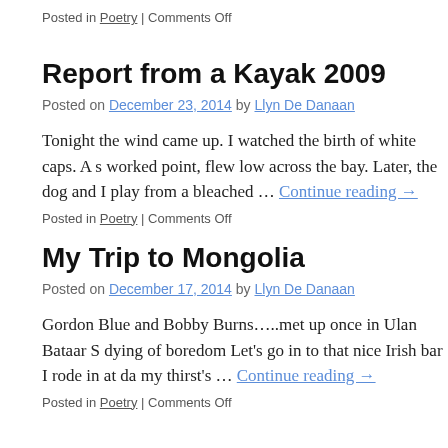Posted in Poetry | Comments Off
Report from a Kayak 2009
Posted on December 23, 2014 by Llyn De Danaan
Tonight the wind came up. I watched the birth of white caps. A s… worked point, flew low across the bay. Later, the dog and I play… from a bleached … Continue reading →
Posted in Poetry | Comments Off
My Trip to Mongolia
Posted on December 17, 2014 by Llyn De Danaan
Gordon Blue and Bobby Burns…..met up once in Ulan Bataar S… dying of boredom Let's go in to that nice Irish bar I rode in at da… my thirst's … Continue reading →
Posted in Poetry | Comments Off